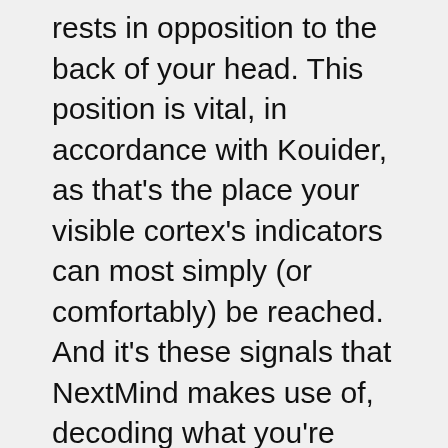rests in opposition to the back of your head. This position is vital, in accordance with Kouider, as that's the place your visible cortex's indicators can most simply (or comfortably) be reached. And it's these signals that NextMind makes use of, decoding what you're looking at as the merchandise or sign to be acted upon. In its simplest type, this could be a button or trigger, however the demos also show how it can be used to DJ, copy and paste and even augment (as an alternative of merely substitute) different inputs, equivalent to that mouse or a recreation controller you